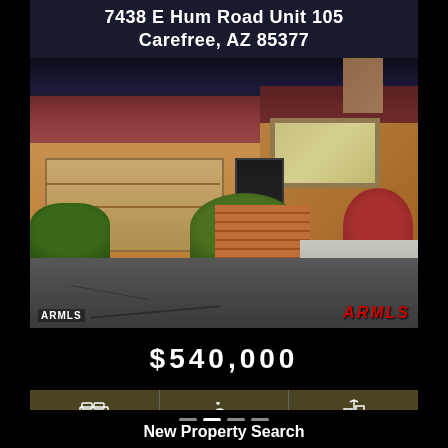7438 E Hum Road Unit 105
Carefree, AZ 85377
[Figure (photo): Exterior photo of a Southwest-style residential property with attached garage, terra cotta tile roof, desert landscaping with shrubs, and a brick-paved entry path. ARMLS watermarks visible in lower left and lower right corners.]
$540,000
2 Beds   2.5 Baths   1,940 SqFt
New Property Search